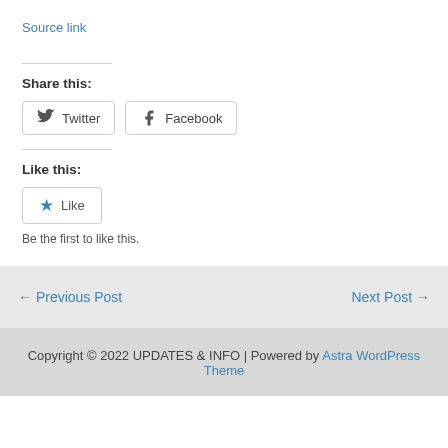Source link
Share this:
Twitter   Facebook
Like this:
Like
Be the first to like this.
← Previous Post
Next Post →
Copyright © 2022 UPDATES & INFO | Powered by Astra WordPress Theme